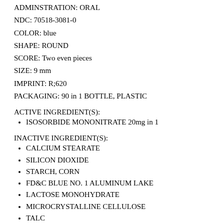ADMINSTRATION: ORAL
NDC: 70518-3081-0
COLOR: blue
SHAPE: ROUND
SCORE: Two even pieces
SIZE: 9 mm
IMPRINT: R;620
PACKAGING: 90 in 1 BOTTLE, PLASTIC
ACTIVE INGREDIENT(S):
ISOSORBIDE MONONITRATE 20mg in 1
INACTIVE INGREDIENT(S):
CALCIUM STEARATE
SILICON DIOXIDE
STARCH, CORN
FD&C BLUE NO. 1 ALUMINUM LAKE
LACTOSE MONOHYDRATE
MICROCRYSTALLINE CELLULOSE
TALC